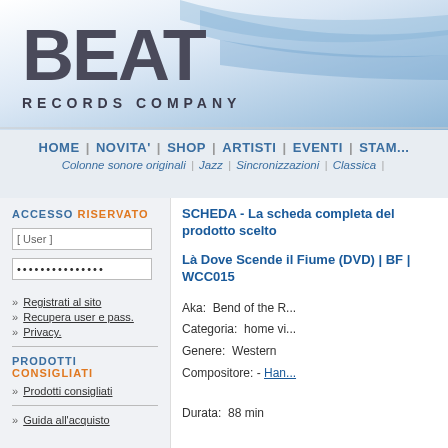[Figure (logo): BEAT Records Company logo with blue swoosh gradient background]
HOME | NOVITA' | SHOP | ARTISTI | EVENTI | STAM...
Colonne sonore originali | Jazz | Sincronizzazioni | Classica |
ACCESSO RISERVATO
[ User ]
···············
>> Registrati al sito
>> Recupera user e pass.
>> Privacy.
PRODOTTI CONSIGLIATI
>> Prodotti consigliati
>> Guida all'acquisto
SCHEDA - La scheda completa del prodotto scelto
Là Dove Scende il Fiume (DVD) | BF | WCC015
Aka: Bend of the R...
Categoria: home vi...
Genere: Western
Compositore: - Han...
Durata: 88 min